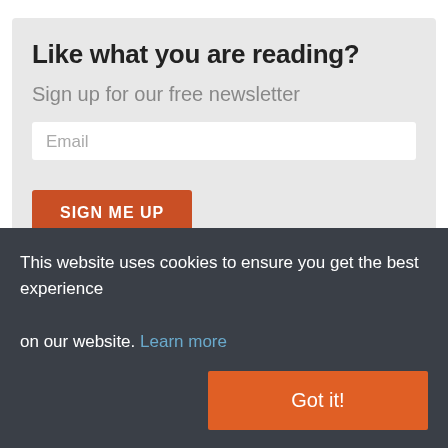Like what you are reading?
Sign up for our free newsletter
Email
SIGN ME UP
Newsletter Signup
This website uses cookies to ensure you get the best experience on our website. Learn more
Got it!